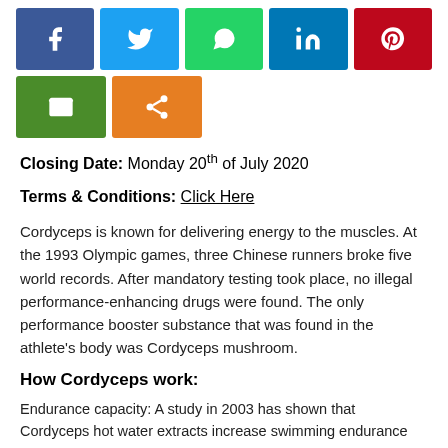[Figure (infographic): Social media share buttons: Facebook (dark blue), Twitter (light blue), WhatsApp (green), LinkedIn (dark blue), Pinterest (red) on top row; Email (olive green), Share (orange) on second row]
Closing Date: Monday 20th of July 2020
Terms & Conditions: Click Here
Cordyceps is known for delivering energy to the muscles. At the 1993 Olympic games, three Chinese runners broke five world records. After mandatory testing took place, no illegal performance-enhancing drugs were found. The only performance booster substance that was found in the athlete's body was Cordyceps mushroom.
How Cordyceps work:
Endurance capacity: A study in 2003 has shown that Cordyceps hot water extracts increase swimming endurance capacity in mice and rats, from 75 to 90 minutes (up by 12.5%), whilst lessening their fatigue at the